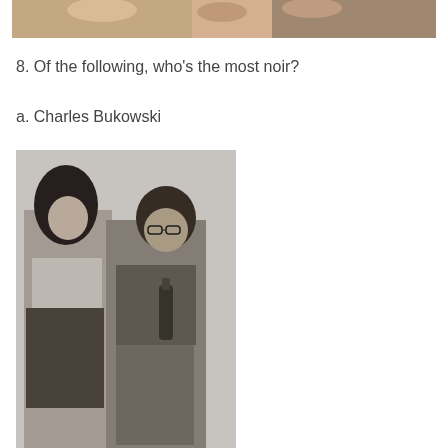[Figure (photo): Partial cropped photo at top of page showing people, partially visible]
8. Of the following, who's the most noir?
a. Charles Bukowski
[Figure (photo): Black and white photograph of a woman and a man (Charles Bukowski) standing together. The woman has long curly dark hair and is wearing a crop top and skirt. The man has a beard and glasses and is holding a bottle.]